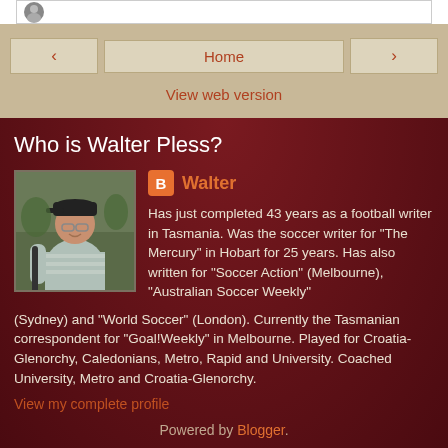[Figure (photo): Top white bar with partial profile photo/avatar icon visible at left edge]
Home
View web version
Who is Walter Pless?
[Figure (photo): Profile photo of Walter Pless, a man wearing a cap and striped polo shirt, standing outdoors]
Walter
Has just completed 43 years as a football writer in Tasmania. Was the soccer writer for "The Mercury" in Hobart for 25 years. Has also written for "Soccer Action" (Melbourne), "Australian Soccer Weekly" (Sydney) and "World Soccer" (London). Currently the Tasmanian correspondent for "Goal!Weekly" in Melbourne. Played for Croatia-Glenorchy, Caledonians, Metro, Rapid and University. Coached University, Metro and Croatia-Glenorchy.
View my complete profile
Powered by Blogger.